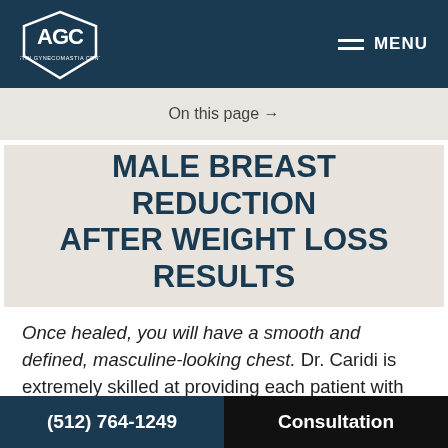AGC Austin Gynecomastia Center — MENU
On this page →
MALE BREAST REDUCTION AFTER WEIGHT LOSS RESULTS
Once healed, you will have a smooth and defined, masculine-looking chest. Dr. Caridi is extremely skilled at providing each patient with the best possible results. Following your
(512) 764-1249  Consultation